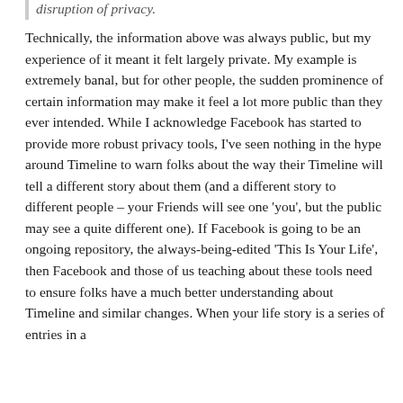disruption of privacy.
Technically, the information above was always public, but my experience of it meant it felt largely private. My example is extremely banal, but for other people, the sudden prominence of certain information may make it feel a lot more public than they ever intended. While I acknowledge Facebook has started to provide more robust privacy tools, I've seen nothing in the hype around Timeline to warn folks about the way their Timeline will tell a different story about them (and a different story to different people – your Friends will see one 'you', but the public may see a quite different one). If Facebook is going to be an ongoing repository, the always-being-edited 'This Is Your Life', then Facebook and those of us teaching about these tools need to ensure folks have a much better understanding about Timeline and similar changes. When your life story is a series of entries in a